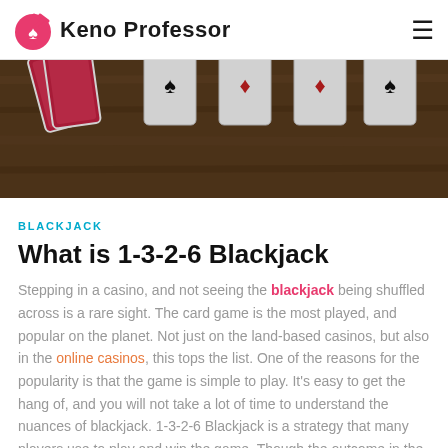Keno Professor
[Figure (photo): Playing cards fanned out on a wooden table surface, showing face cards and a red-backed deck]
BLACKJACK
What is 1-3-2-6 Blackjack
Stepping in a casino, and not seeing the blackjack being shuffled across is a rare sight. The card game is the most played, and popular on the planet. Not just on the land-based casinos, but also in the online casinos, this tops the list. One of the reasons for the popularity is that the game is simple to play. It's easy to get the hang of, and you will not take a lot of time to understand the nuances of blackjack. 1-3-2-6 Blackjack is a strategy that many players use to play and win the game. Though the outcome in the game depends on your expertise at the game, sometimes the strategies can be an important...